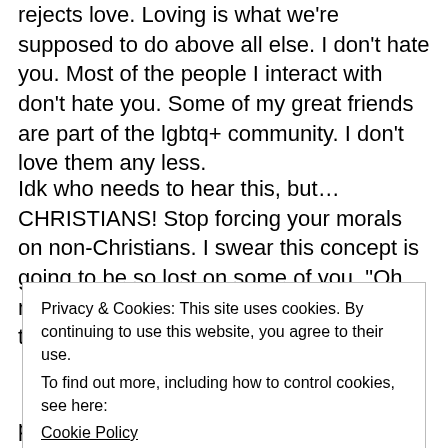rejects love. Loving is what we're supposed to do above all else. I don't hate you. Most of the people I interact with don't hate you. Some of my great friends are part of the lgbtq+ community. I don't love them any less.
Idk who needs to hear this, but… CHRISTIANS! Stop forcing your morals on non-Christians. I swear this concept is going to be so lost on some of you. "Oh my gosh, they're living together before they're married.
Privacy & Cookies: This site uses cookies. By continuing to use this website, you agree to their use.
To find out more, including how to control cookies, see here:
Cookie Policy

Close and accept
people to live like you do when they don't believe in it